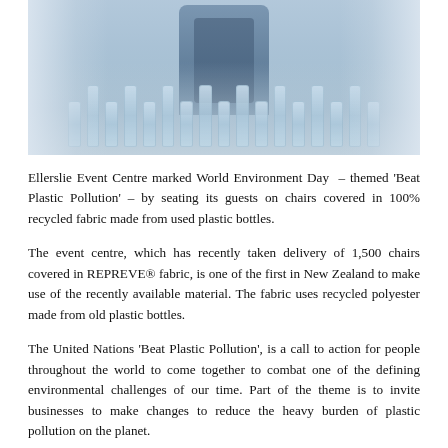[Figure (photo): A person seated on a chair surrounded by many plastic bottles arranged in front. The image has a blurred background with light tones and the bottles are clearly visible in the foreground.]
Ellerslie Event Centre marked World Environment Day – themed 'Beat Plastic Pollution' – by seating its guests on chairs covered in 100% recycled fabric made from used plastic bottles.
The event centre, which has recently taken delivery of 1,500 chairs covered in REPREVE® fabric, is one of the first in New Zealand to make use of the recently available material. The fabric uses recycled polyester made from old plastic bottles.
The United Nations 'Beat Plastic Pollution', is a call to action for people throughout the world to come together to combat one of the defining environmental challenges of our time. Part of the theme is to invite businesses to make changes to reduce the heavy burden of plastic pollution on the planet.